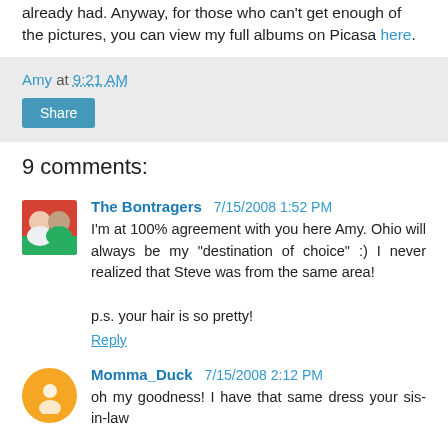already had. Anyway, for those who can't get enough of the pictures, you can view my full albums on Picasa here.
Amy at 9:21 AM
Share
9 comments:
The Bontragers 7/15/2008 1:52 PM
I'm at 100% agreement with you here Amy. Ohio will always be my "destination of choice" :) I never realized that Steve was from the same area!

p.s. your hair is so pretty!
Reply
Momma_Duck 7/15/2008 2:12 PM
oh my goodness! I have that same dress your sis-in-law